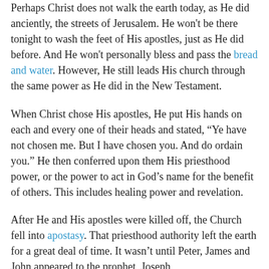Perhaps Christ does not walk the earth today, as He did anciently, the streets of Jerusalem. He won't be there tonight to wash the feet of His apostles, just as He did before. And He won't personally bless and pass the bread and water. However, He still leads His church through the same power as He did in the New Testament.
When Christ chose His apostles, He put His hands on each and every one of their heads and stated, “Ye have not chosen me. But I have chosen you. And do ordain you.” He then conferred upon them His priesthood power, or the power to act in God’s name for the benefit of others. This includes healing power and revelation.
After He and His apostles were killed off, the Church fell into apostasy. That priesthood authority left the earth for a great deal of time. It wasn’t until Peter, James and John appeared to the prophet, Joseph